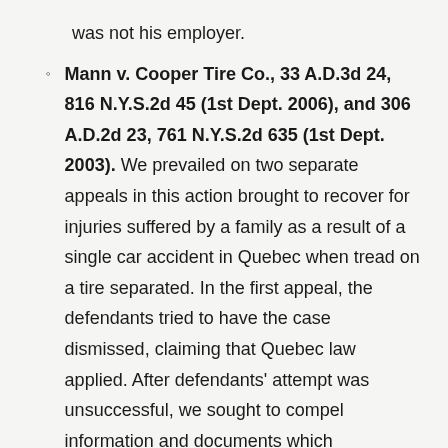was not his employer.
Mann v. Cooper Tire Co., 33 A.D.3d 24, 816 N.Y.S.2d 45 (1st Dept. 2006), and 306 A.D.2d 23, 761 N.Y.S.2d 635 (1st Dept. 2003). We prevailed on two separate appeals in this action brought to recover for injuries suffered by a family as a result of a single car accident in Quebec when tread on a tire separated. In the first appeal, the defendants tried to have the case dismissed, claiming that Quebec law applied. After defendants' attempt was unsuccessful, we sought to compel information and documents which defendants refused to produce, claiming that it was a trade secret and irrelevant. In a rare blistering opinion, the Court blasted defendants and awarded our clients the